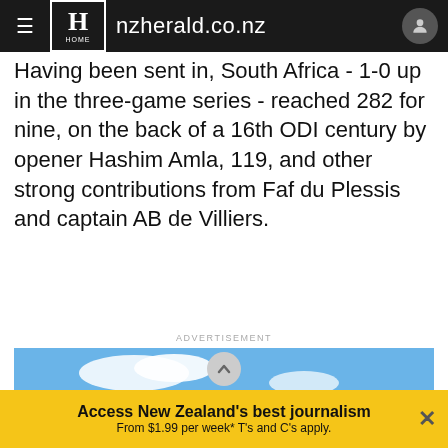nzherald.co.nz
Having been sent in, South Africa - 1-0 up in the three-game series - reached 282 for nine, on the back of a 16th ODI century by opener Hashim Amla, 119, and other strong contributions from Faf du Plessis and captain AB de Villiers.
ADVERTISEMENT
[Figure (photo): A couple standing outdoors looking at a scenic river valley with lush green trees and hills in the background, under a blue sky with clouds.]
Access New Zealand's best journalism
From $1.99 per week* T's and C's apply.